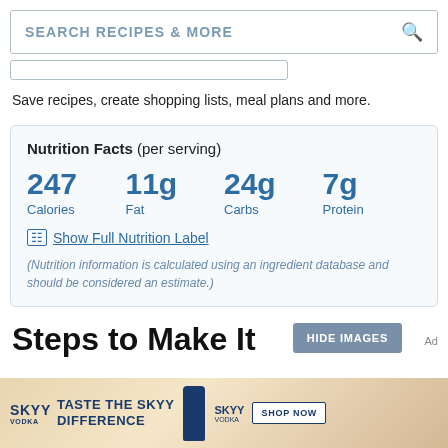SEARCH RECIPES & MORE
Save recipes, create shopping lists, meal plans and more.
| 247 | 11g | 24g | 7g |
| Calories | Fat | Carbs | Protein |
Show Full Nutrition Label
(Nutrition information is calculated using an ingredient database and should be considered an estimate.)
Steps to Make It
[Figure (photo): SKYY Vodka advertisement banner with text 'TASTE THE SKYY DIFFERENCE' and 'SHOP NOW' button]